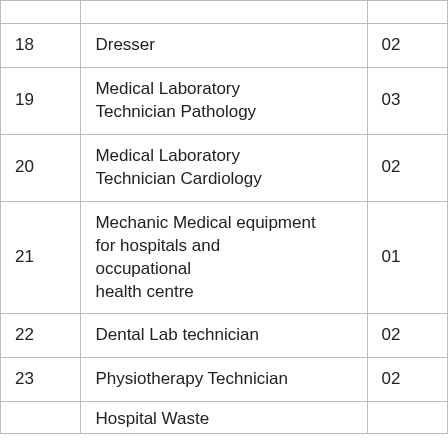| No. | Post/Title | No. of Posts |
| --- | --- | --- |
| 17 | … | … |
| 18 | Dresser | 02 |
| 19 | Medical Laboratory Technician Pathology | 03 |
| 20 | Medical Laboratory Technician Cardiology | 02 |
| 21 | Mechanic Medical equipment for hospitals and occupational health centre | 01 |
| 22 | Dental Lab technician | 02 |
| 23 | Physiotherapy Technician | 02 |
| 24 | Hospital Waste … | … |